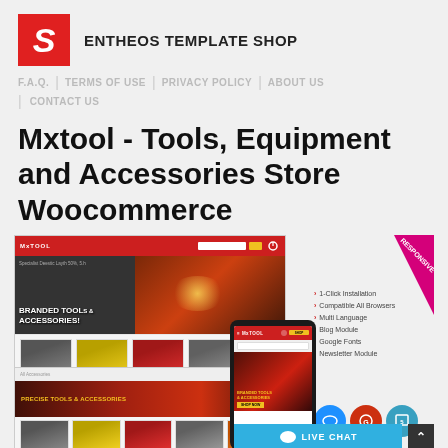[Figure (logo): Entheos Template Shop logo: red square with white italic S letter, followed by bold text ENTHEOS TEMPLATE SHOP]
F.A.Q.  |  TERMS OF USE  |  PRIVACY POLICY  |  ABOUT US  |  CONTACT US
Mxtool - Tools, Equipment and Accessories Store Woocommerce
[Figure (screenshot): Screenshot composite showing desktop, tablet, and mobile views of the Mxtool WooCommerce theme. Desktop view shows red header with MXTOOL branding, hero image of branded tools and accessories, and product listings. Tablet view shows similar layout. Mobile view shows smartphone with the Mxtool site. Features panel lists: 1-Click Installation, Compatible All Browsers, Multi Language, Blog Module, Google Fonts, Newsletter Module. RESPONSIVE badge in top right corner. Icon circles for chat, accessibility, and CSS3. Live Chat button at bottom.]